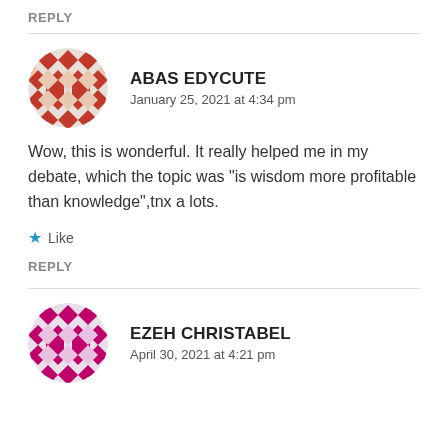REPLY
ABAS EDYCUTE
January 25, 2021 at 4:34 pm
Wow, this is wonderful. It really helped me in my debate, which the topic was “is wisdom more profitable than knowledge”,tnx a lots.
★ Like
REPLY
EZEH CHRISTABEL
April 30, 2021 at 4:21 pm